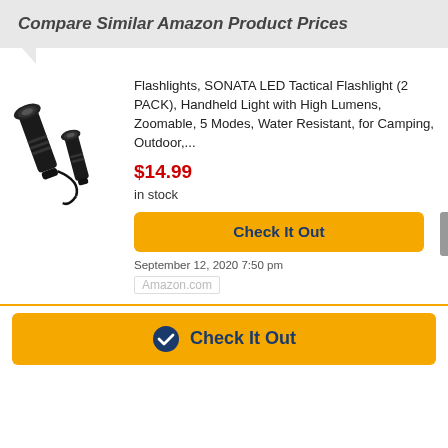Compare Similar Amazon Product Prices
[Figure (photo): Two black LED tactical flashlights, one larger and one smaller, with a wrist strap]
Flashlights, SONATA LED Tactical Flashlight (2 PACK), Handheld Light with High Lumens, Zoomable, 5 Modes, Water Resistant, for Camping, Outdoor,...
$14.99
in stock
Check It Out
September 12, 2020 7:50 pm
Amazon.com
Check It Out